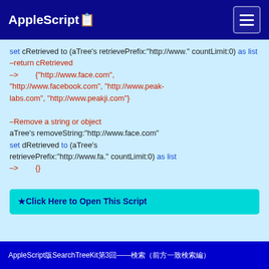AppleScript📋
set cRetrieved to (aTree's retrievePrefix:"http://www." countLimit:0) as list
–return cRetrieved
–>        {"http://www.face.com", "http://www.facebook.com", "http://www.peak-labs.com", "http://www.peakji.com"}

–Remove a string or object
aTree's removeString:"http://www.face.com"
set dRetrieved to (aTree's retrievePrefix:"http://www.fa." countLimit:0) as list
–>        {}
★Click Here to Open This Script
AppleScript版SearchTreeKit第3回——検索（前方一致検索編）